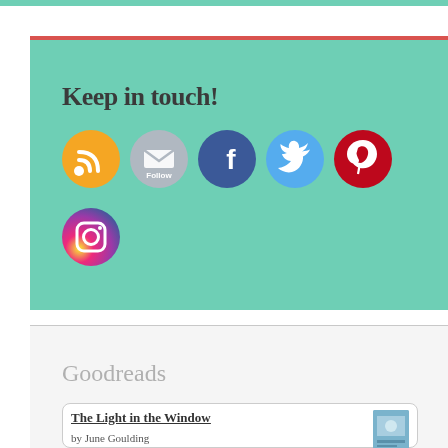Keep in touch!
[Figure (infographic): Social media icons in circles: RSS (orange), Follow/Email (gray), Facebook (blue), Twitter (light blue), Pinterest (red), Instagram (gradient purple-orange)]
Goodreads
The Light in the Window
by June Goulding